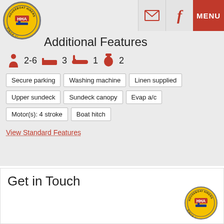[Figure (logo): HHA Houseboat Hirers circular logo, yellow with red HHA badge and boat, Since 1982]
Additional Features
2-6 persons, 3 beds, 1 bath, 2 toilets
Secure parking
Washing machine
Linen supplied
Upper sundeck
Sundeck canopy
Evap a/c
Motor(s): 4 stroke
Boat hitch
View Standard Features
Get in Touch
[Figure (logo): HHA Houseboat Hirers circular logo, yellow with red HHA badge and boat, Since 1982]